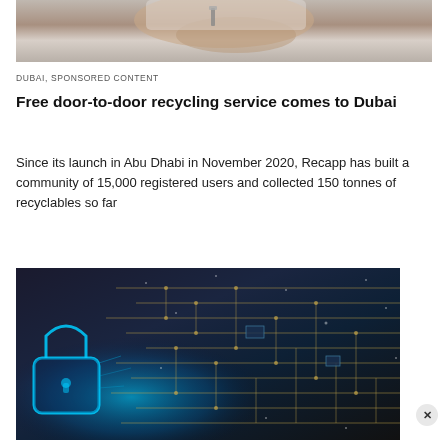[Figure (photo): Close-up photo of a hand in a white sweater holding something small metallic, cropped at top of page]
DUBAI, SPONSORED CONTENT
Free door-to-door recycling service comes to Dubai
Since its launch in Abu Dhabi in November 2020, Recapp has built a community of 15,000 registered users and collected 150 tonnes of recyclables so far
[Figure (photo): Dark photograph of a circuit board with gold traces on dark background blended with a glowing blue digital padlock/lock shape on the left side]